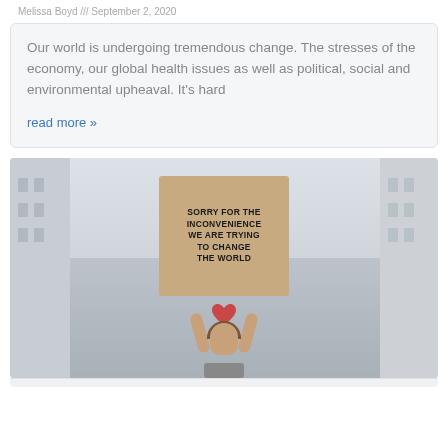Melissa Boyd /// September 2, 2020
Our world is undergoing tremendous change. The stresses of the economy, our global health issues as well as political, social and environmental upheaval. It's hard
read more »
[Figure (photo): A protester holding a cardboard sign that reads 'SORRY FOR THE INCONVENIENCE WE ARE TRYING TO CHANGE THE WORLD' with a red heart, standing between buildings on a street.]